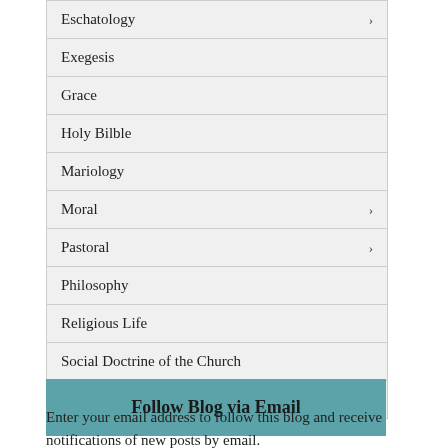Eschatology
Exegesis
Grace
Holy Bilble
Mariology
Moral
Pastoral
Philosophy
Religious Life
Social Doctrine of the Church
Suffering
Follow Blog via Email
Enter your email address to follow this blog and receive notifications of new posts by email.